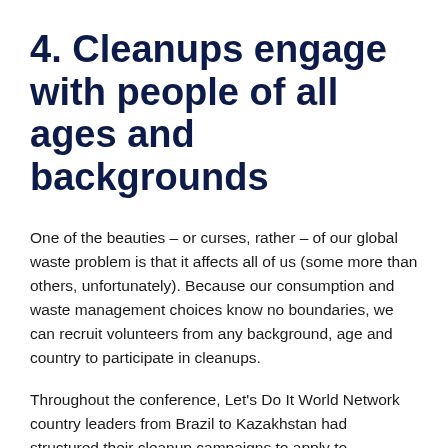4. Cleanups engage with people of all ages and backgrounds
One of the beauties – or curses, rather – of our global waste problem is that it affects all of us (some more than others, unfortunately). Because our consumption and waste management choices know no boundaries, we can recruit volunteers from any background, age and country to participate in cleanups.
Throughout the conference, Let's Do It World Network country leaders from Brazil to Kazakhstan had structured their cleanup campaigns to apply to everyone. For cleanups, you are never too old, too young or too busy to help the